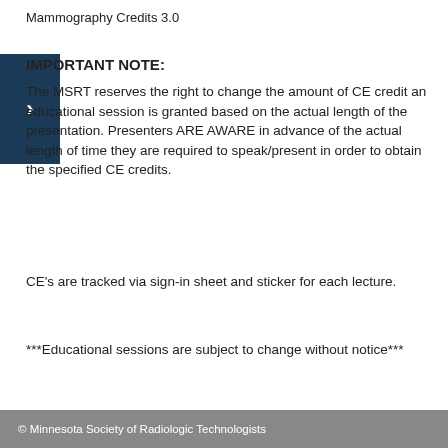Mammography Credits 3.0
IMPORTANT NOTE:
The MSRT reserves the right to change the amount of CE credit an educational session is granted based on the actual length of the presentation. Presenters ARE AWARE in advance of the actual length of time they are required to speak/present in order to obtain the specified CE credits.
CE's are tracked via sign-in sheet and sticker for each lecture.
***Educational sessions are subject to change without notice***
© Minnesota Society of Radiologic Technologists